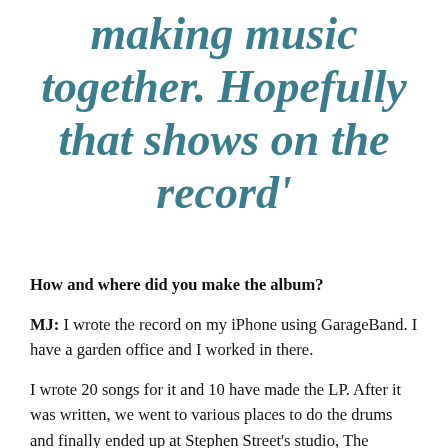making music together. Hopefully that shows on the record'
How and where did you make the album?
MJ: I wrote the record on my iPhone using GarageBand. I have a garden office and I worked in there.
I wrote 20 songs for it and 10 have made the LP. After it was written, we went to various places to do the drums and finally ended up at Stephen Street's studio, The Bunker, which is a room he has at Damon Albarn's studio